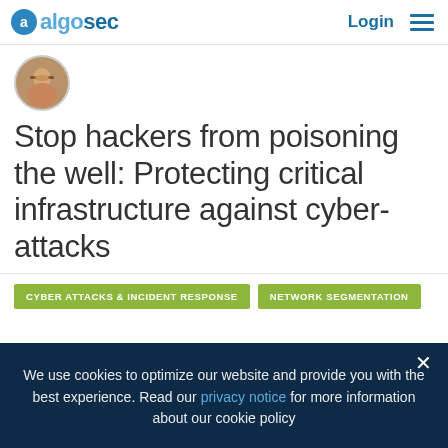algosec | Login ≡
[Figure (photo): Author avatar photo: woman with glasses]
Stop hackers from poisoning the well: Protecting critical infrastructure against cyber-attacks
CYBER ATTACKS & INCIDENT RESPONSE
NETWORK SEGMENTATION
We use cookies to optimize our website and provide you with the best experience. Read our privacy notice for more information about our cookie policy